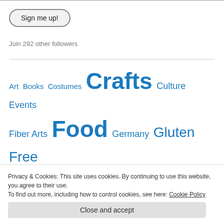[Figure (other): Sign me up! button with rounded pill shape border]
Join 292 other followers
[Figure (infographic): Tag cloud with blue links: Art, Books, Costumes, Crafts (large), Culture, Events, Fiber Arts, Food (large), Germany, Gluten Free, Inspirations, iPad Art, Kid Crafts, News, Patchwork]
Privacy & Cookies: This site uses cookies. By continuing to use this website, you agree to their use.
To find out more, including how to control cookies, see here: Cookie Policy